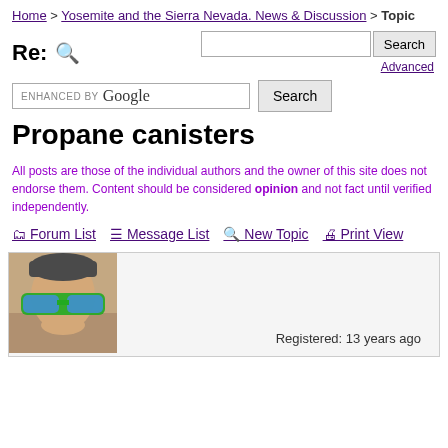Home > Yosemite and the Sierra Nevada. News & Discussion > Topic
Re:
Propane canisters
All posts are those of the individual authors and the owner of this site does not endorse them. Content should be considered opinion and not fact until verified independently.
Forum List
Message List
New Topic
Print View
Registered: 13 years ago
[Figure (photo): User avatar photo showing person wearing large green novelty glasses]